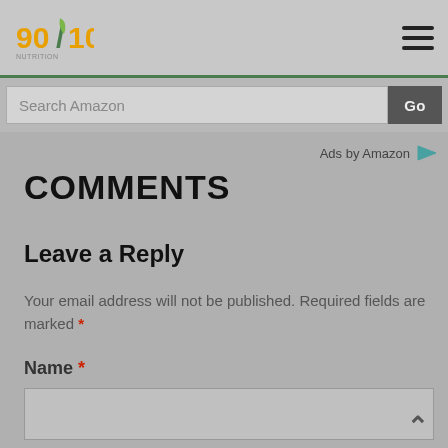[Figure (logo): 90/10 Nutrition logo with green leaf accent]
[Figure (illustration): Hamburger menu icon (three horizontal lines)]
Search Amazon
Go
Ads by Amazon
COMMENTS
Leave a Reply
Your email address will not be published. Required fields are marked *
Name *
Email *